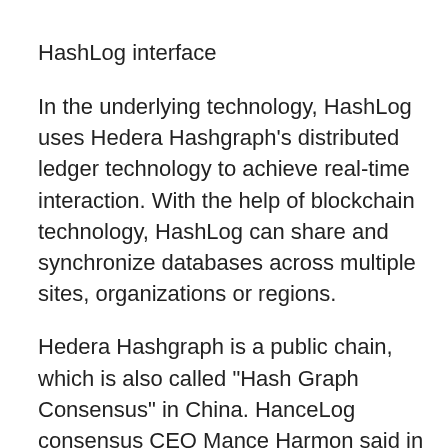HashLog interface
In the underlying technology, HashLog uses Hedera Hashgraph's distributed ledger technology to achieve real-time interaction. With the help of blockchain technology, HashLog can share and synchronize databases across multiple sites, organizations or regions.
Hedera Hashgraph is a public chain, which is also called "Hash Graph Consensus" in China. HanceLog consensus CEO Mance Harmon said in an interview with the media that HashLog uses blockchain technology as a trust layer to ensure the credibility of the data.
"Health care and public health information security are key areas for the implementation of blockchain technology." He said.